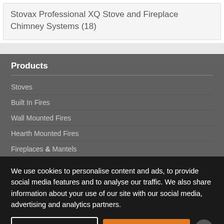Stovax Professional XQ Stove and Fireplace Chimney Systems (18)
Products
Stoves
Built In Fires
Wall Mounted Fires
Hearth Mounted Fires
Fireplaces & Mantels
We use cookies to personalise content and ads, to provide social media features and to analyse our traffic. We also share information about your use of our site with our social media, advertising and analytics partners.